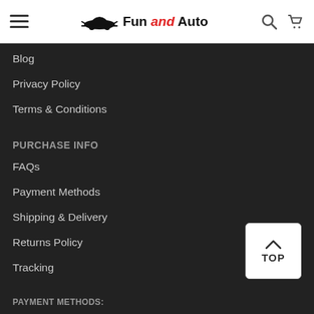Fun and Auto — navigation header with hamburger menu, logo, search and cart icons
Blog
Privacy Policy
Terms & Conditions
PURCHASE INFO
FAQs
Payment Methods
Shipping & Delivery
Returns Policy
Tracking
PAYMENT METHODS: